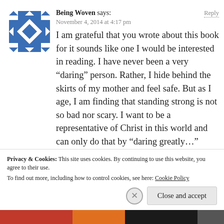[Figure (logo): Blue and white geometric quilt-pattern avatar icon for 'Being Woven']
Being Woven says:
November 4, 2014 at 4:17 pm
I am grateful that you wrote about this book for it sounds like one I would be interested in reading. I have never been a very “daring” person. Rather, I hide behind the skirts of my mother and feel safe. But as I age, I am finding that standing strong is not so bad nor scary. I want to be a representative of Christ in this world and can only do that by “daring greatly….”
Reply
Privacy & Cookies: This site uses cookies. By continuing to use this website, you agree to their use.
To find out more, including how to control cookies, see here: Cookie Policy
Close and accept